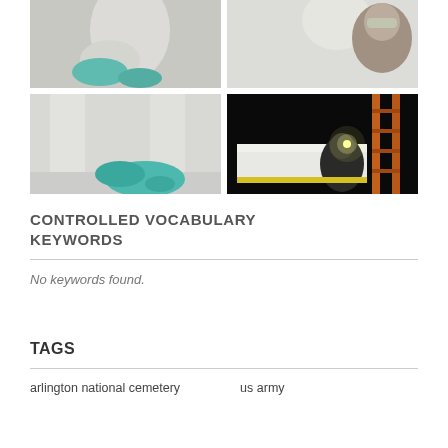[Figure (photo): Four photos in a 2x2 grid showing conservation work on white marble statues. Top-left: hands with teal gloves working on a white marble figure. Top-right: person with safety goggles examining a white marble relief. Bottom-left: teal gloved hand cleaning base of white marble columns. Bottom-right: person using a headlamp while working on a white marble surface at night with an orange ladder.]
CONTROLLED VOCABULARY KEYWORDS
No keywords found.
TAGS
arlington national cemetery   us army